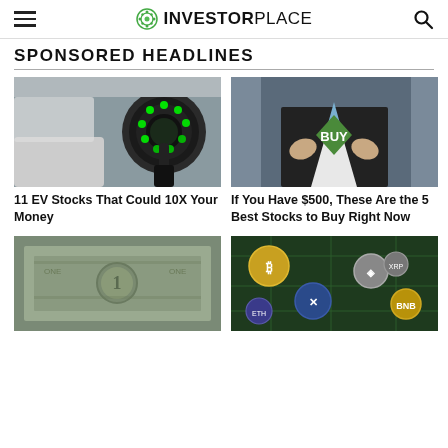INVESTORPLACE
SPONSORED HEADLINES
[Figure (photo): EV car charging port with green LED ring, white electric vehicle in background]
11 EV Stocks That Could 10X Your Money
[Figure (photo): Person in suit opening shirt to reveal green diamond BUY sign]
If You Have $500, These Are the 5 Best Stocks to Buy Right Now
[Figure (photo): Close-up macro of US one dollar bill]
[Figure (photo): Various cryptocurrency coins including Bitcoin, Ripple, and others on circuit board]